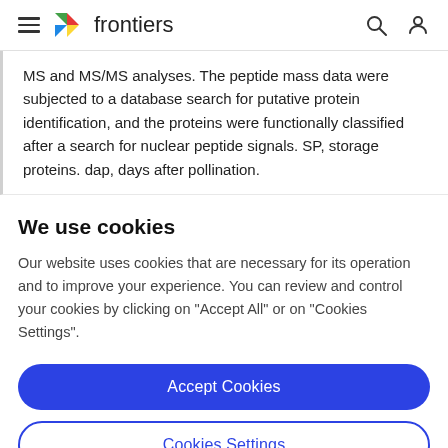frontiers
MS and MS/MS analyses. The peptide mass data were subjected to a database search for putative protein identification, and the proteins were functionally classified after a search for nuclear peptide signals. SP, storage proteins. dap, days after pollination.
We use cookies
Our website uses cookies that are necessary for its operation and to improve your experience. You can review and control your cookies by clicking on "Accept All" or on "Cookies Settings".
Accept Cookies
Cookies Settings